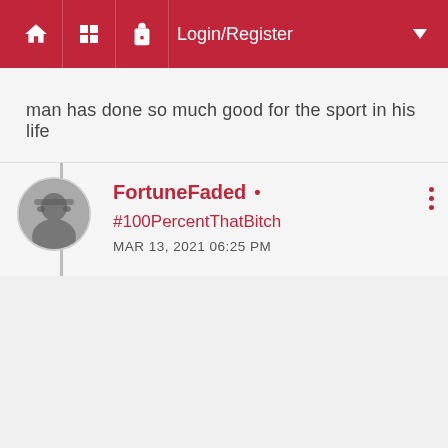Login/Register
man has done so much good for the sport in his life
FortuneFaded • #100PercentThatBitch
MAR 13, 2021 06:25 PM